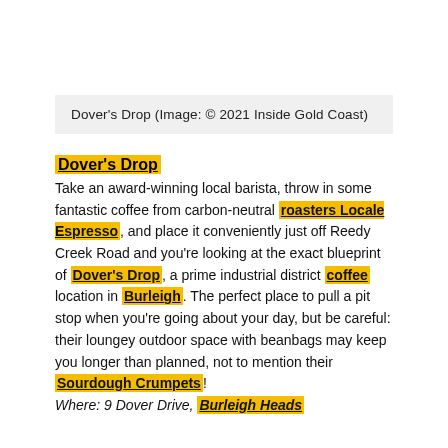Dover's Drop (Image: © 2021 Inside Gold Coast)
Dover's Drop
Take an award-winning local barista, throw in some fantastic coffee from carbon-neutral roasters Locale Espresso, and place it conveniently just off Reedy Creek Road and you're looking at the exact blueprint of Dover's Drop, a prime industrial district coffee location in Burleigh. The perfect place to pull a pit stop when you're going about your day, but be careful: their loungey outdoor space with beanbags may keep you longer than planned, not to mention their Sourdough Crumpets! Where: 9 Dover Drive, Burleigh Heads